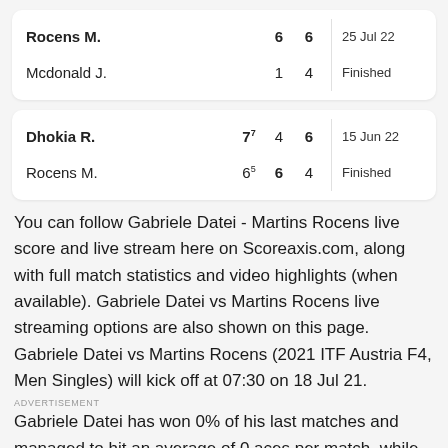| Player | Set1 | Set2 | Date | Status |
| --- | --- | --- | --- | --- |
| Rocens M. | 6 | 6 | 25 Jul 22 | Finished |
| Mcdonald J. | 1 | 4 |  |  |
| Player | Set1 | Set2 | Set3 | Date | Status |
| --- | --- | --- | --- | --- | --- |
| Dhokia R. | 7^7 | 4 | 6 | 15 Jun 22 | Finished |
| Rocens M. | 6^5 | 6 | 4 |  |  |
You can follow Gabriele Datei - Martins Rocens live score and live stream here on Scoreaxis.com, along with full match statistics and video highlights (when available). Gabriele Datei vs Martins Rocens live streaming options are also shown on this page. Gabriele Datei vs Martins Rocens (2021 ITF Austria F4, Men Singles) will kick off at 07:30 on 18 Jul 21.
ADVERTISEMENT
Gabriele Datei has won 0% of his last matches and managed to hit an average of 0 aces per match, while the double faults stand at 0 per match. Gabriele Datei has won